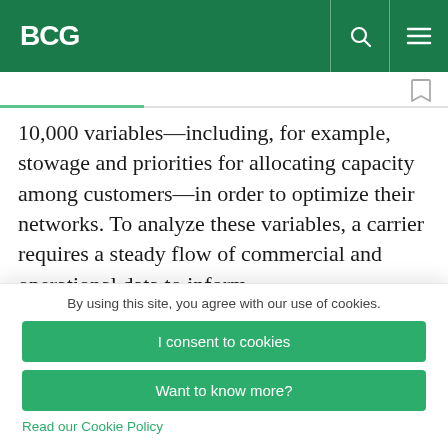BCG
10,000 variables—including, for example, stowage and priorities for allocating capacity among customers—in order to optimize their networks. To analyze these variables, a carrier requires a steady flow of commercial and operational data to inform
By using this site, you agree with our use of cookies.
I consent to cookies
Want to know more?
Read our Cookie Policy